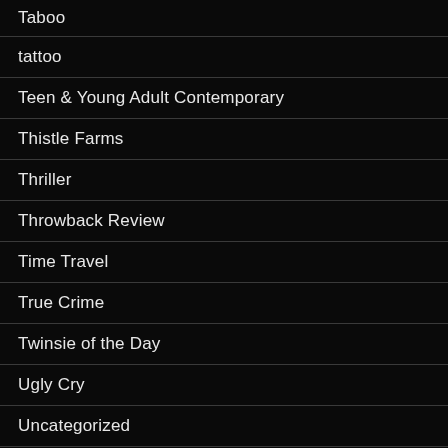Taboo
tattoo
Teen & Young Adult Contemporary
Thistle Farms
Thriller
Throwback Review
Time Travel
True Crime
Twinsie of the Day
Ugly Cry
Uncategorized
Urban Fantasy/Urban Fiction
Vampire